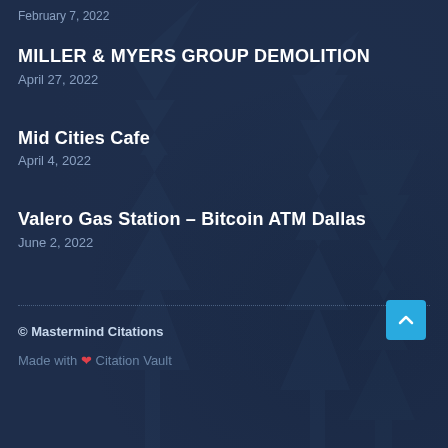February 7, 2022
MILLER & MYERS GROUP DEMOLITION
April 27, 2022
Mid Cities Cafe
April 4, 2022
Valero Gas Station – Bitcoin ATM Dallas
June 2, 2022
© Mastermind Citations
Made with ❤ Citation Vault